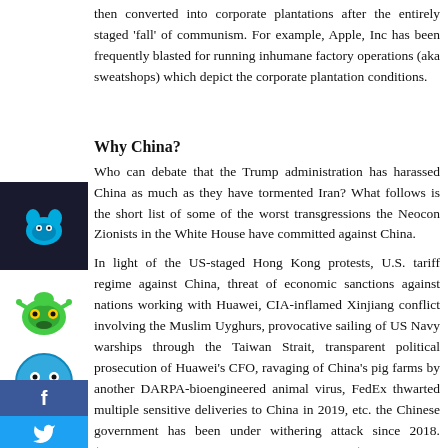then converted into corporate plantations after the entirely staged 'fall' of communism. For example, Apple, Inc has been frequently blasted for running inhumane factory operations (aka sweatshops) which depict the corporate plantation conditions.
Why China?
Who can debate that the Trump administration has harassed China as much as they have tormented Iran? What follows is the short list of some of the worst transgressions the Neocon Zionists in the White House have committed against China.
In light of the US-staged Hong Kong protests, U.S. tariff regime against China, threat of economic sanctions against nations working with Huawei, CIA-inflamed Xinjiang conflict involving the Muslim Uyghurs, provocative sailing of US Navy warships through the Taiwan Strait, transparent political prosecution of Huawei's CFO, ravaging of China's pig farms by another DARPA-bioengineered animal virus, FedEx thwarted multiple sensitive deliveries to China in 2019, etc. the Chinese government has been under withering attack since 2018. (Source: OPERATION CORONA BIOTERROR)
All of this bellicose behavior was directed toward softening up the Chinese government. Not only does the Zio-Anglo-American Axis